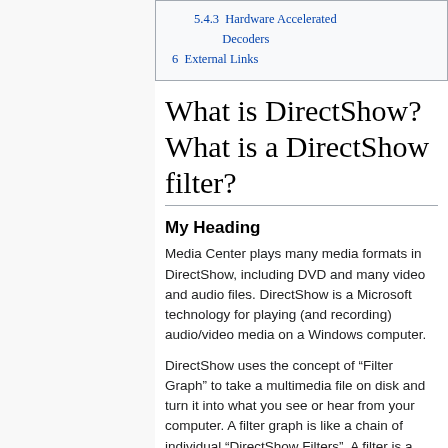5.4.3  Hardware Accelerated Decoders
6  External Links
What is DirectShow? What is a DirectShow filter?
My Heading
Media Center plays many media formats in DirectShow, including DVD and many video and audio files. DirectShow is a Microsoft technology for playing (and recording) audio/video media on a Windows computer.
DirectShow uses the concept of “Filter Graph” to take a multimedia file on disk and turn it into what you see or hear from your computer. A filter graph is like a chain of individual “DirectShow Filters”. A filter is a software component in DirectShow that will work with other similar components to render a media file. They are sort of like little “plugins” for